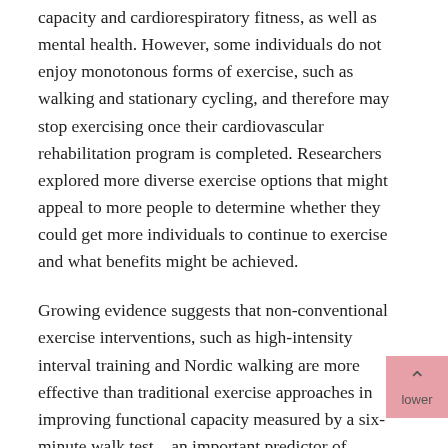capacity and cardiorespiratory fitness, as well as mental health. However, some individuals do not enjoy monotonous forms of exercise, such as walking and stationary cycling, and therefore may stop exercising once their cardiovascular rehabilitation program is completed. Researchers explored more diverse exercise options that might appeal to more people to determine whether they could get more individuals to continue to exercise and what benefits might be achieved.
Growing evidence suggests that non-conventional exercise interventions, such as high-intensity interval training and Nordic walking are more effective than traditional exercise approaches in improving functional capacity measured by a six-minute walk test – an important predictor of cardiovascular events in patients with coronary artery disease. Nordic walking is an enhanced form of walking exercise that uses specifically designed poles to further engage both the upper and lower body muscles.
“Patients with coronary artery disease frequently demonstrate diminished functional capacity, low quality